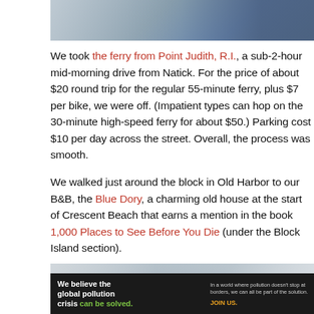[Figure (photo): Top portion of a photo, appears to show part of a boat or vessel with ropes and a dark bag/item visible]
We took the ferry from Point Judith, R.I., a sub-2-hour mid-morning drive from Natick. For the price of about $20 round trip for the regular 55-minute ferry, plus $7 per bike, we were off. (Impatient types can hop on the 30-minute high-speed ferry for about $50.) Parking cost $10 per day across the street. Overall, the process was smooth.
We walked just around the block in Old Harbor to our B&B, the Blue Dory, a charming old house at the start of Crescent Beach that earns a mention in the book 1,000 Places to See Before You Die (under the Block Island section).
[Figure (photo): Bottom portion of a photo showing architectural columns or pillars of a building, appears to be white/light colored]
[Figure (other): Advertisement for Pure Earth organization. Left text: 'We believe the global pollution crisis can be solved.' Middle text: 'In a world where pollution doesn't stop at borders, we can all be part of the solution. JOIN US.' Right side: Pure Earth logo with diamond/triangle icon.]